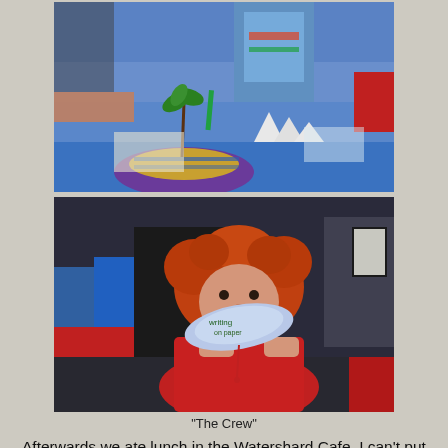[Figure (photo): Top photo: Children at a blue table with paper craft projects including a paper island with a tree and paper figures. A boy in a colorful shirt stands in the background.]
[Figure (photo): Bottom photo: A child with curly red hair wearing a red shirt holds up a paper cutout with writing on it. Other children visible in the background at a blue table.]
"The Crew"
Afterwards we ate lunch in the Watershard Cafe. I can't put my finger on why, but the cafe always seems incredibly posh